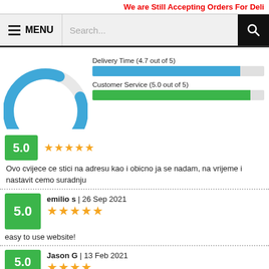We are Still Accepting Orders For Deli
MENU  Search...
[Figure (donut-chart): Partial donut chart showing overall rating, blue arc on white background]
Delivery Time (4.7 out of 5)
Customer Service (5.0 out of 5)
Ovo cvijece ce stici na adresu kao i obicno ja se nadam, na vrijeme i nastavit cemo suradnju
emilio s | 26 Sep 2021
5.0
easy to use website!
Jason G | 13 Feb 2021
5.0